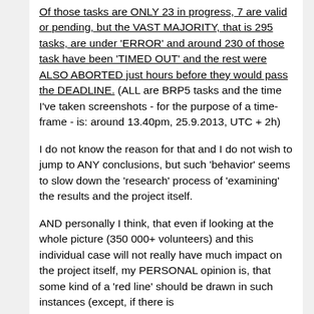Of those tasks are ONLY 23 in progress, 7 are valid or pending, but the VAST MAJORITY, that is 295 tasks, are under 'ERROR' and around 230 of those task have been 'TIMED OUT' and the rest were ALSO ABORTED just hours before they would pass the DEADLINE. (ALL are BRP5 tasks and the time I've taken screenshots - for the purpose of a time-frame - is: around 13.40pm, 25.9.2013, UTC + 2h)
I do not know the reason for that and I do not wish to jump to ANY conclusions, but such 'behavior' seems to slow down the 'research' process of 'examining' the results and the project itself.
AND personally I think, that even if looking at the whole picture (350 000+ volunteers) and this individual case will not really have much impact on the project itself, my PERSONAL opinion is, that some kind of a 'red line' should be drawn in such instances (except, if there is